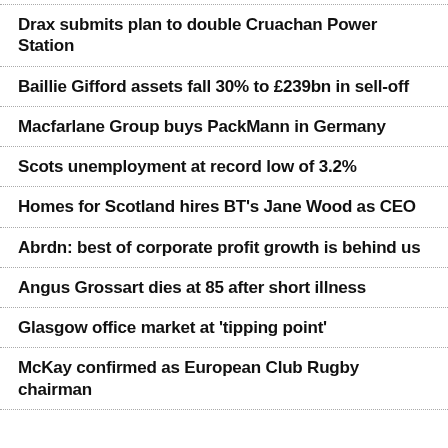Drax submits plan to double Cruachan Power Station
Baillie Gifford assets fall 30% to £239bn in sell-off
Macfarlane Group buys PackMann in Germany
Scots unemployment at record low of 3.2%
Homes for Scotland hires BT's Jane Wood as CEO
Abrdn: best of corporate profit growth is behind us
Angus Grossart dies at 85 after short illness
Glasgow office market at 'tipping point'
McKay confirmed as European Club Rugby chairman